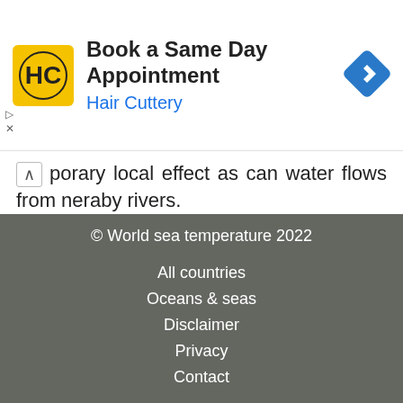[Figure (other): Hair Cuttery advertisement banner with logo, text 'Book a Same Day Appointment' and 'Hair Cuttery', and a blue navigation icon]
porary local effect as can water flows from neraby rivers.
Alternate names for Del Carmen
Del Carmen, Nomantag
© World sea temperature 2022
All countries
Oceans & seas
Disclaimer
Privacy
Contact